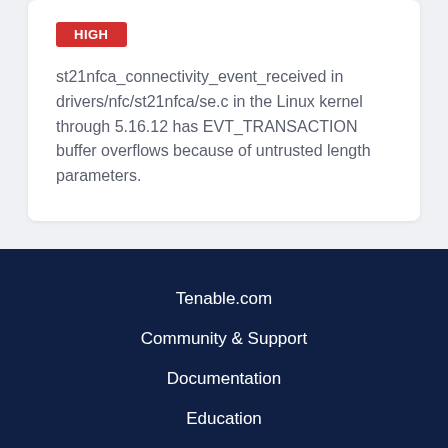HIGH
st21nfca_connectivity_event_received in drivers/nfc/st21nfca/se.c in the Linux kernel through 5.16.12 has EVT_TRANSACTION buffer overflows because of untrusted length parameters.
Tenable.com
Community & Support
Documentation
Education
© 2022 Tenable®, Inc. All Rights Reserved
Privacy Policy